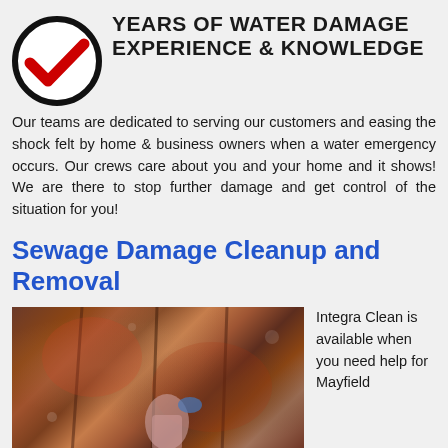[Figure (illustration): Black circle with red checkmark icon]
YEARS OF WATER DAMAGE EXPERIENCE & KNOWLEDGE
Our teams are dedicated to serving our customers and easing the shock felt by home & business owners when a water emergency occurs. Our crews care about you and your home and it shows! We are there to stop further damage and get control of the situation for you!
Sewage Damage Cleanup and Removal
[Figure (photo): Photo of sewage damage cleanup scene showing damaged interior with materials and a person working]
Integra Clean is available when you need help for Mayfield